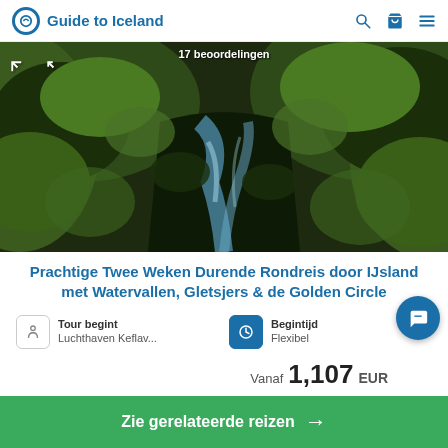Guide to Iceland
[Figure (photo): Aerial view of a mossy green canyon with a river/waterfall flowing through rocky gorge in Iceland]
Prachtige Twee Weken Durende Rondreis door IJsland met Watervallen, Gletsjers & de Golden Circle
Tour begint
Luchthaven Keflav...
Begintijd
Flexibel
Vanaf 1,107 EUR
Zie gerelateerde reizen →